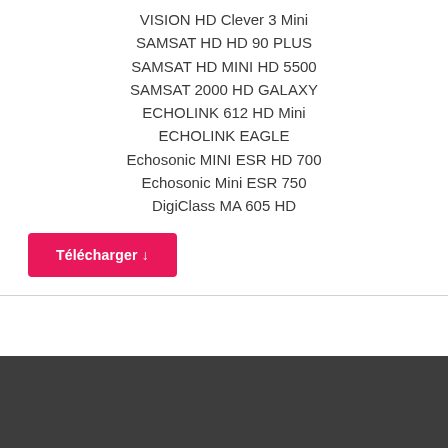VISION HD Clever 3 Mini
SAMSAT HD HD 90 PLUS
SAMSAT HD MINI HD 5500
SAMSAT 2000 HD GALAXY
ECHOLINK 612 HD Mini
ECHOLINK EAGLE
Echosonic MINI ESR HD 700
Echosonic Mini ESR 750
DigiClass MA 605 HD
Télécharger ↓
À propos